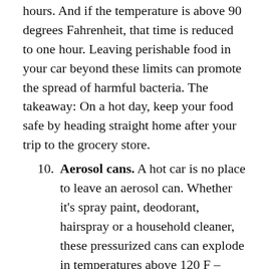hours. And if the temperature is above 90 degrees Fahrenheit, that time is reduced to one hour. Leaving perishable food in your car beyond these limits can promote the spread of harmful bacteria. The takeaway: On a hot day, keep your food safe by heading straight home after your trip to the grocery store.
10. Aerosol cans. A hot car is no place to leave an aerosol can. Whether it's spray paint, deodorant, hairspray or a household cleaner, these pressurized cans can explode in temperatures above 120 F – which is definitely possible to achieve inside your car on a warm summer day.
11. Lighters. Similar to aerosol cans, cigarette lighters can also leak or explode in high temperatures. The resulting explosion could